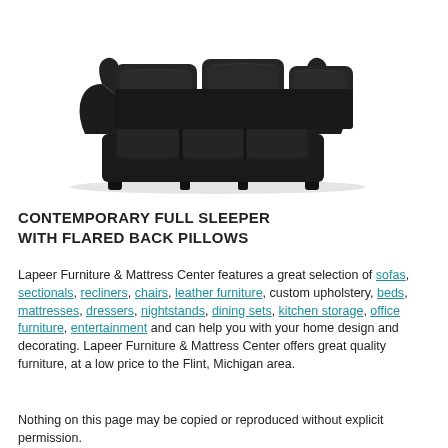[Figure (photo): A black contemporary full sleeper sofa with flared back pillows, featuring three seat cushions and curved armrests, viewed from a slight angle on a white background.]
CONTEMPORARY FULL SLEEPER WITH FLARED BACK PILLOWS
Lapeer Furniture & Mattress Center features a great selection of sofas, sectionals, recliners, chairs, leather furniture, custom upholstery, beds, mattresses, dressers, nightstands, dining sets, kitchen storage, office furniture, entertainment and can help you with your home design and decorating. Lapeer Furniture & Mattress Center offers great quality furniture, at a low price to the Flint, Michigan area.
Nothing on this page may be copied or reproduced without explicit permission.